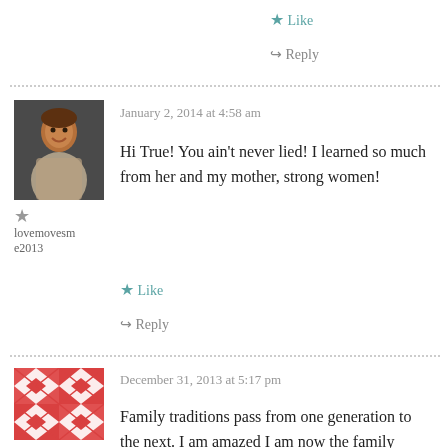Like
Reply
[Figure (photo): Profile photo of a smiling woman in a patterned dress]
lovemovesme2013
January 2, 2014 at 4:58 am
Hi True! You ain't never lied! I learned so much from her and my mother, strong women!
Like
Reply
[Figure (illustration): Decorative quilt-pattern avatar in red and white]
December 31, 2013 at 5:17 pm
Family traditions pass from one generation to the next. I am amazed I am now the family